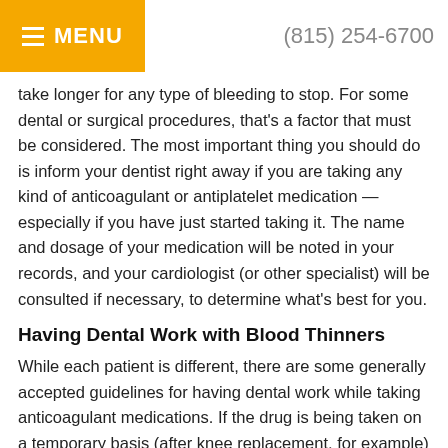MENU  (815) 254-6700
take longer for any type of bleeding to stop. For some dental or surgical procedures, that's a factor that must be considered. The most important thing you should do is inform your dentist right away if you are taking any kind of anticoagulant or antiplatelet medication — especially if you have just started taking it. The name and dosage of your medication will be noted in your records, and your cardiologist (or other specialist) will be consulted if necessary, to determine what's best for you.
Having Dental Work with Blood Thinners
While each patient is different, there are some generally accepted guidelines for having dental work while taking anticoagulant medications. If the drug is being taken on a temporary basis (after knee replacement, for example) then the safest choice might be to put off non-essential dental